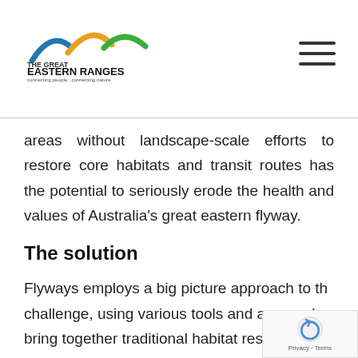[Figure (logo): The Great Eastern Ranges logo with mountain arc shapes in blue, orange, and green, with text 'THE GREAT EASTERN RANGES' and tagline 'connecting people...connecting nature']
areas without landscape-scale efforts to restore core habitats and transit routes has the potential to seriously erode the health and values of Australia's great eastern flyway.
The solution
Flyways employs a big picture approach to the challenge, using various tools and approaches to bring together traditional habitat restoration